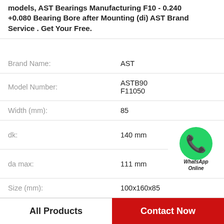models, AST Bearings Manufacturing F10 - 0.240 +0.080 Bearing Bore after Mounting (di) AST Brand Service . Get Your Free.
| Property | Value |
| --- | --- |
| Brand Name: | AST |
| Model Number: | ASTB90 F11050 |
| Width (mm): | 85 |
| dk: | 140 mm |
| da max: | 111 mm |
| Size (mm): | 100x160x85 |
| Weight: | 6,15 Kg |
| r1 min.: | 1 mm |
[Figure (logo): WhatsApp Online green phone icon with text 'WhatsApp Online']
All Products
Contact Now